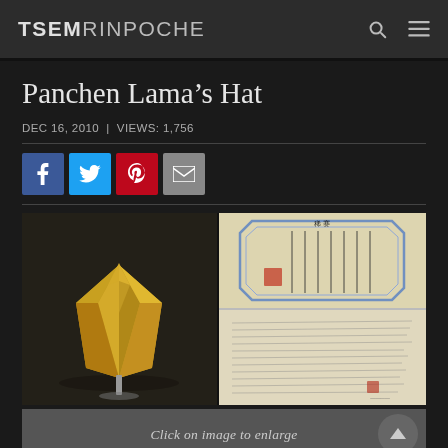TSEM RINPOCHE
Panchen Lama’s Hat
DEC 16, 2010 | VIEWS: 1,756
[Figure (photo): Three images: left shows a golden folded hat (4th Panchen Lama's hat) on a metal stand against dark background; top right shows a Chinese manuscript/certificate with blue border decoration and red seal; bottom right shows a handwritten letter/document on aged paper.]
Click on image to enlarge
This is the 4th Panchen Lama’s hat that is currently on